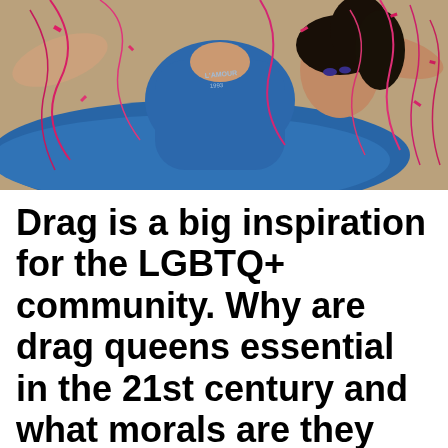[Figure (photo): A person wearing a blue swimsuit/leotard with 'L'AMOUR 1993' text, lying on a blue fabric surface surrounded by pink/red metallic streamers and confetti]
Drag is a big inspiration for the LGBTQ+ community. Why are drag queens essential in the 21st century and what morals are they bringing to our society?
(Bishy Barnabee): Drag is deeply rooted in the LGBTQ+